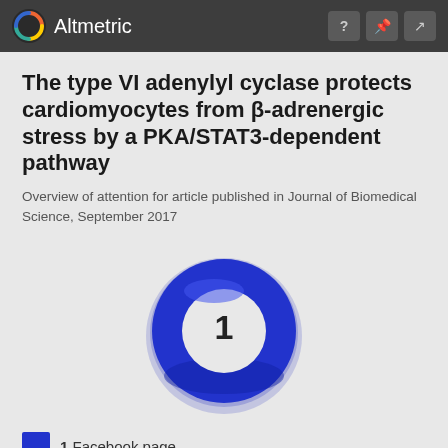Altmetric
The type VI adenylyl cyclase protects cardiomyocytes from β-adrenergic stress by a PKA/STAT3-dependent pathway
Overview of attention for article published in Journal of Biomedical Science, September 2017
[Figure (donut-chart): Blue donut chart showing Altmetric score of 1]
1 Facebook page